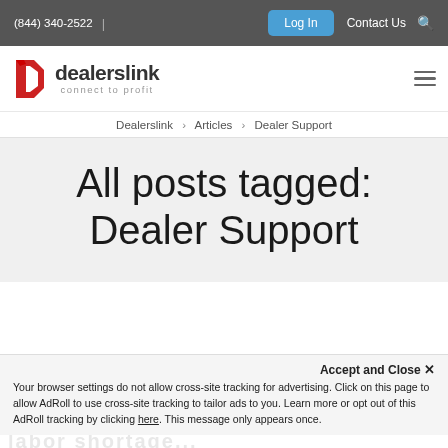(844) 340-2522  |  Log In  Contact Us
[Figure (logo): Dealerslink logo — red angled D icon with text 'dealerslink' and tagline 'connect to profit']
Dealerslink > Articles > Dealer Support
All posts tagged: Dealer Support
Accept and Close ×
Your browser settings do not allow cross-site tracking for advertising. Click on this page to allow AdRoll to use cross-site tracking to tailor ads to you. Learn more or opt out of this AdRoll tracking by clicking here. This message only appears once.